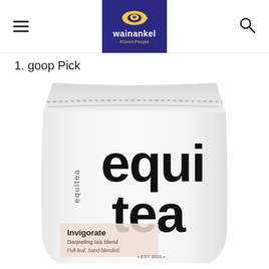wainankel
1. goop Pick
[Figure (photo): White pouch packaging for 'equitea' brand tea product labeled 'Invigorate Darjeeling tea blend'. The word 'equi' appears in large bold text on the right side of the pouch and 'tea' below it. 'equitea' appears vertically on the left. At the bottom: 'Invigorate Darjeeling tea blend' and '• EST 2020 •' and 'Full-leaf. hand blended.']